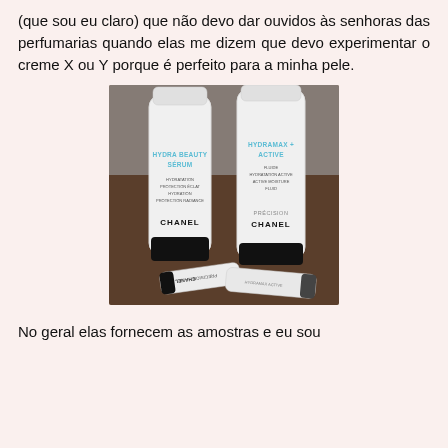(que sou eu claro) que não devo dar ouvidos às senhoras das perfumarias quando elas me dizem que devo experimentar o creme X ou Y porque é perfeito para a minha pele.
[Figure (photo): Photo of four Chanel Precision skincare product tubes on a dark surface. Two upright tubes: left is Hydra Beauty Sérum (Hydration Protection Éclat, Hydration Protection Radiance), right is Hydramax+ Active Fluide (Hydratation Active, Active Moisture Fluid). Two smaller tubes lying flat in the foreground.]
No geral elas fornecem as amostras e eu sou